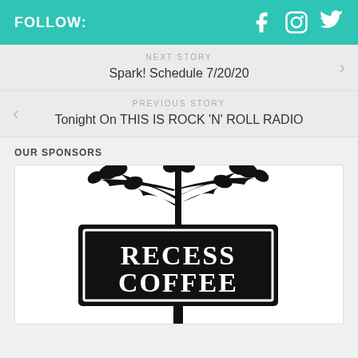FOLLOW:
NEXT STORY
Spark! Schedule 7/20/20
PREVIOUS STORY
Tonight On THIS IS ROCK 'N' ROLL RADIO
OUR SPONSORS
[Figure (logo): Recess Coffee logo — black sign with white serif text reading RECESS COFFEE, with decorative tree branches above]